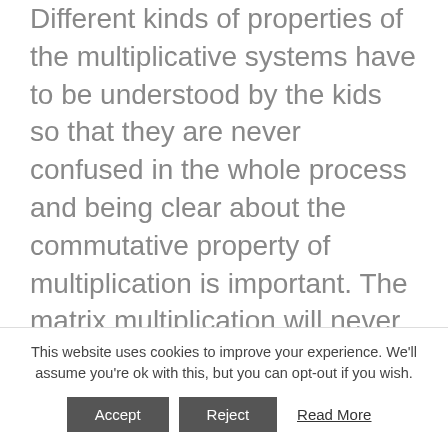Different kinds of properties of the multiplicative systems have to be understood by the kids so that they are never confused in the whole process and being clear about the commutative property of multiplication is important. The matrix multiplication will never be commutative. On the other hand, being clear about the associative property of multiplication is another very important thing because this particular property is very well proved. It is also very much important for the kids to have a clear-
This website uses cookies to improve your experience. We'll assume you're ok with this, but you can opt-out if you wish.
Accept  Reject  Read More